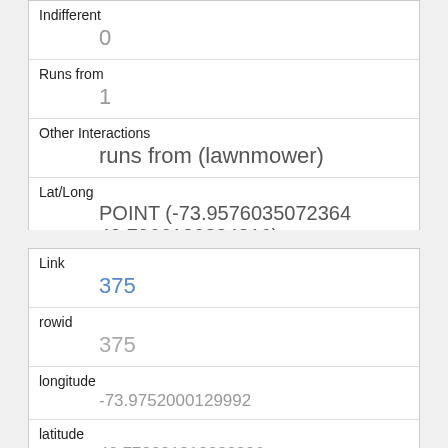| Indifferent | 0 |
| Runs from | 1 |
| Other Interactions | runs from (lawnmower) |
| Lat/Long | POINT (-73.9576035072364 40.7966120824816) |
| Link | 375 |
| rowid | 375 |
| longitude | -73.9752000129992 |
| latitude | 40.773291812223896 |
| Unique Squirrel ID | 8C-PM-1013-04 |
| Hectare |  |